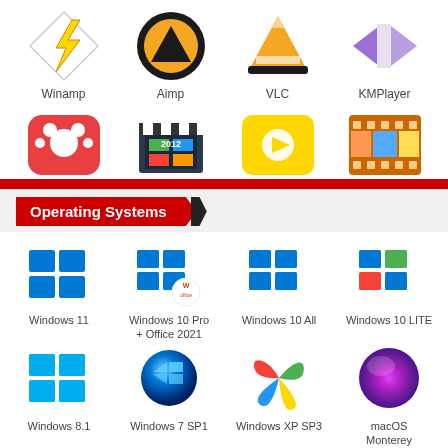[Figure (illustration): Row of media player app icons: Winamp (lightning bolt), Aimp (triangle in circle), VLC (traffic cone), KMPlayer (purple play button)]
[Figure (illustration): Partial row of media player app icons: GNOME, Movie Maker 2012, a yellow video player, and a film reel icon, partially cut off by red bar]
Operating Systems
[Figure (illustration): Grid of operating system icons: Windows 11, Windows 10 Pro + Office 2021, Windows 10 All, Windows 10 LITE, Windows 8.1, Windows 7 SP1, Windows XP SP3, macOS Monterey, and partial bottom row]
Windows 11
Windows 10 Pro + Office 2021
Windows 10 All
Windows 10 LITE
Windows 8.1
Windows 7 SP1
Windows XP SP3
macOS Monterey